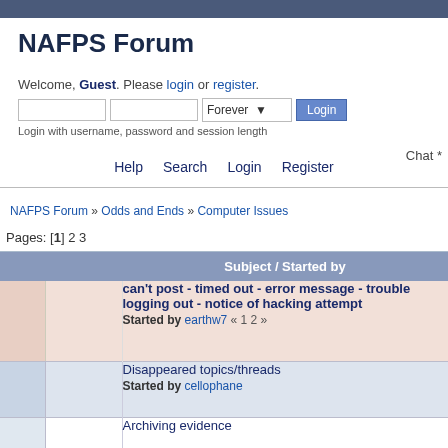NAFPS Forum
Welcome, Guest. Please login or register.
Login with username, password and session length
Chat *
Help   Search   Login   Register
NAFPS Forum » Odds and Ends » Computer Issues
Pages: [1] 2 3
| Subject / Started by |
| --- |
| can't post - timed out - error message - trouble logging out - notice of hacking attempt
Started by earthw7 « 1 2 » |
| Disappeared topics/threads
Started by cellophane |
| Archiving evidence |